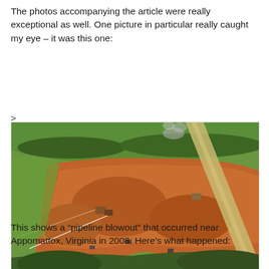The photos accompanying the article were really exceptional as well. One picture in particular really caught my eye – it was this one:
[Figure (photo): Aerial photograph of a pipeline blowout near Appomattox, Virginia in 2008, showing burned/orange-red scorched earth in a large area across farmland, with a road or pipeline corridor running diagonally, smoke visible, and green fields surrounding the damage zone.]
This shows a “pipeline blowout” that occurred near Appomattox, Virginia in 2008. Here’s what happened: